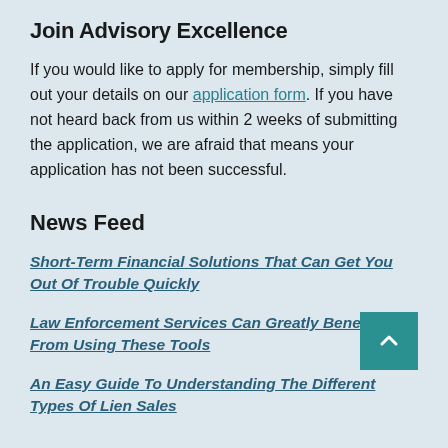Join Advisory Excellence
If you would like to apply for membership, simply fill out your details on our application form. If you have not heard back from us within 2 weeks of submitting the application, we are afraid that means your application has not been successful.
News Feed
Short-Term Financial Solutions That Can Get You Out Of Trouble Quickly
Law Enforcement Services Can Greatly Benefit From These Tools
An Easy Guide To Understanding The Different Types Of Lien Sales